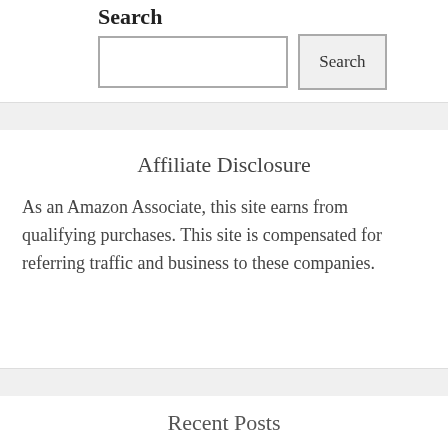Search
Search
Affiliate Disclosure
As an Amazon Associate, this site earns from qualifying purchases. This site is compensated for referring traffic and business to these companies.
Recent Posts